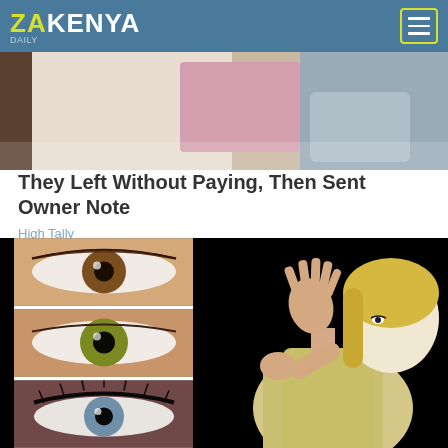ZAKENYA
[Figure (photo): Partial view of a person from behind, close-up photo cropped at top]
They Left Without Paying, Then Sent Owner Note
High Tally
[Figure (photo): Collage of close-up eye photos on the left (brown, green/hazel, blue eyes) and a blonde woman in a light jacket with hands raised on a black background on the right]